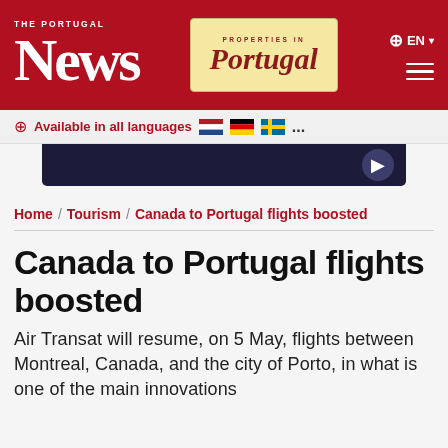THE PORTUGAL News — Properties in Portugal — EN
Available in all languages
Home / Tourism / Canada to Portugal flights boosted
Canada to Portugal flights boosted
Air Transat will resume, on 5 May, flights between Montreal, Canada, and the city of Porto, in what is one of the main innovations